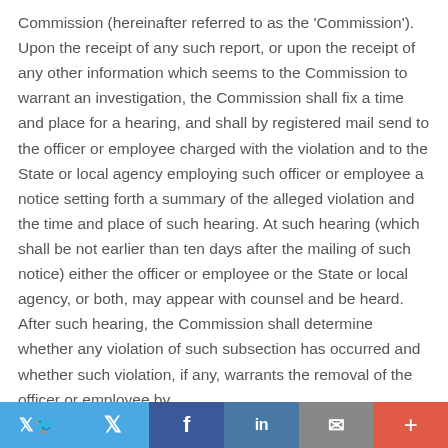Commission (hereinafter referred to as the 'Commission'). Upon the receipt of any such report, or upon the receipt of any other information which seems to the Commission to warrant an investigation, the Commission shall fix a time and place for a hearing, and shall by registered mail send to the officer or employee charged with the violation and to the State or local agency employing such officer or employee a notice setting forth a summary of the alleged violation and the time and place of such hearing. At such hearing (which shall be not earlier than ten days after the mailing of such notice) either the officer or employee or the State or local agency, or both, may appear with counsel and be heard. After such hearing, the Commission shall determine whether any violation of such subsection has occurred and whether such violation, if any, warrants the removal of the officer or employee by
Twitter | Facebook | LinkedIn | Email | +